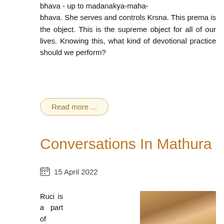bhava - up to madanakya-maha-bhava. She serves and controls Krsna. This prema is the object. This is the supreme object for all of our lives. Knowing this, what kind of devotional practice should we perform?
Read more ...
Conversations In Mathura
15 April 2022
Ruci is a part of suddha-sattva, and when suddha-sattva comes, rati or bhava (the stage of spiritual emotion just prior to prema) manifests. The fraction of
[Figure (photo): Photo of an elderly spiritual teacher wearing pink robes with garlands, outdoors with trees in background]